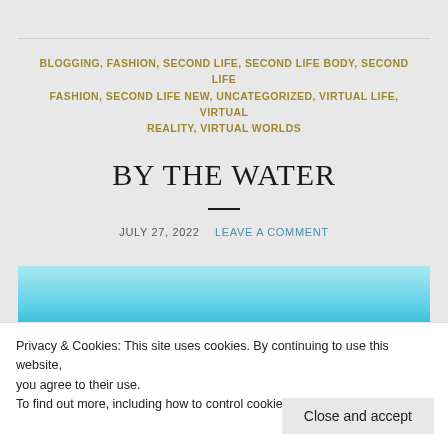BLOGGING, FASHION, SECOND LIFE, SECOND LIFE BODY, SECOND LIFE FASHION, SECOND LIFE NEW, UNCATEGORIZED, VIRTUAL LIFE, VIRTUAL REALITY, VIRTUAL WORLDS
BY THE WATER
JULY 27, 2022  LEAVE A COMMENT
[Figure (photo): Photo showing water with a turquoise/cyan gradient sky and water scene]
Privacy & Cookies: This site uses cookies. By continuing to use this website, you agree to their use.
To find out more, including how to control cookies, see here: Cookie Policy
Close and accept